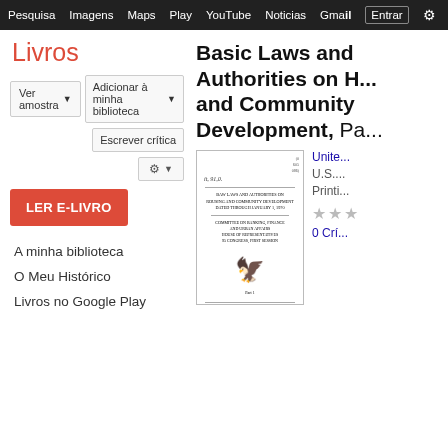Pesquisa  Imagens  Maps  Play  YouTube  Noticias  Gmail  Entrar  ⚙️  Mais
Livros
Ver amostra  ▼    Adicionar à minha biblioteca  ▼    Escrever crítica
LER E-LIVRO
A minha biblioteca
O Meu Histórico
Livros no Google Play
Basic Laws and Authorities on Housing and Community Development, Pa...
Unite...
U.S....
Printi...
★ ★ ...  0 Crí...